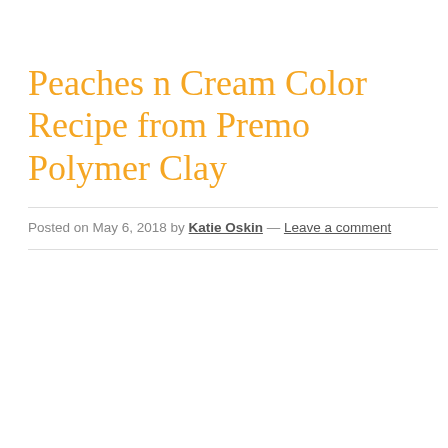Peaches n Cream Color Recipe from Premo Polymer Clay
Posted on May 6, 2018 by Katie Oskin — Leave a comment